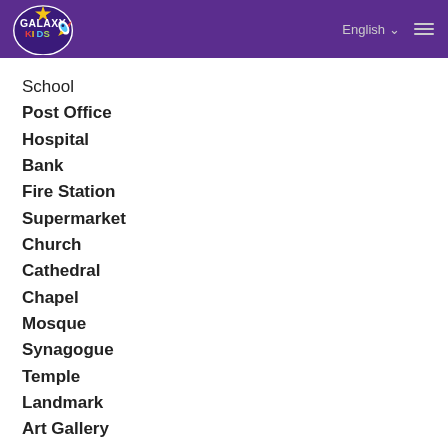Galaxy Kids | English
School
Post Office
Hospital
Bank
Fire Station
Supermarket
Church
Cathedral
Chapel
Mosque
Synagogue
Temple
Landmark
Art Gallery
Monument